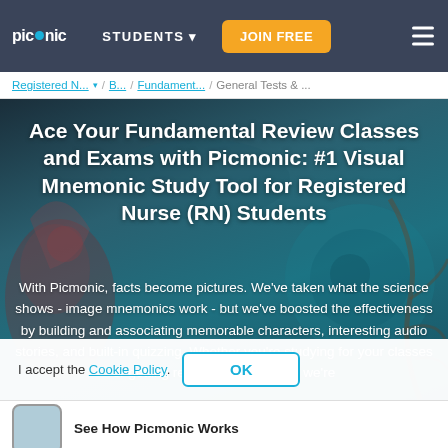picmonic STUDENTS ▾ JOIN FREE ≡
Registered N... ▾ / B... / Fundament... / General Tests & ...
Ace Your Fundamental Review Classes and Exams with Picmonic: #1 Visual Mnemonic Study Tool for Registered Nurse (RN) Students
With Picmonic, facts become pictures. We've taken what the science shows - image mnemonics work - but we've boosted the effectiveness by building and associating memorable characters, interesting audio stories, and built-in quizzing. Whether you're studying for your classes or getting ready for a big exam, we're here.
I accept the Cookie Policy. OK
See How Picmonic Works